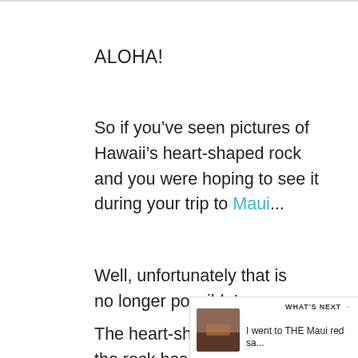ALOHA!
So if you’ve seen pictures of Hawaii’s heart-shaped rock and you were hoping to see it during your trip to Maui...
Well, unfortunately that is no longer possible!
The heart-shaped portion of the rock has been destroyed by n... and is now gone.
[Figure (screenshot): What's Next card with thumbnail image: 'I went to THE Maui red sa...']
[Figure (other): Floating teal heart (favorite) button]
[Figure (other): Floating share button]